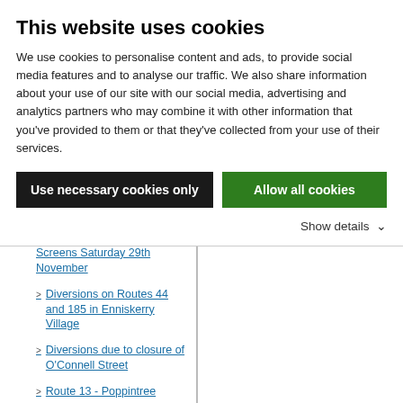This website uses cookies
We use cookies to personalise content and ads, to provide social media features and to analyse our traffic. We also share information about your use of our site with our social media, advertising and analytics partners who may combine it with other information that you've provided to them or that they've collected from your use of their services.
Use necessary cookies only | Allow all cookies
Show details
Real Time On Street Display Screens Saturday 29th November
Diversions on Routes 44 and 185 in Enniskerry Village
Diversions due to closure of O'Connell Street
Route 13 - Poppintree
Route 27 - Priorswood Diversion
Routes 40 & 76 - Neilstown Rd
Changes to Route 239 from Monday, 8th December